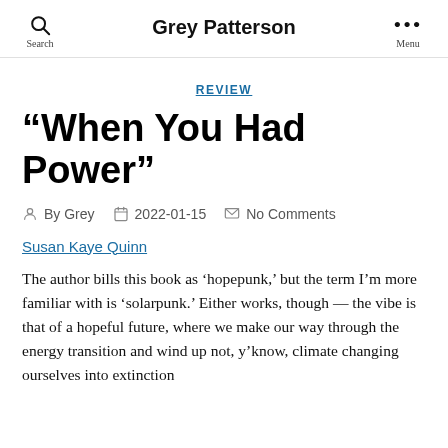Grey Patterson
REVIEW
“When You Had Power”
By Grey  2022-01-15  No Comments
Susan Kaye Quinn
The author bills this book as ‘hopepunk,’ but the term I’m more familiar with is ‘solarpunk.’ Either works, though — the vibe is that of a hopeful future, where we make our way through the energy transition and wind up not, y’know, climate changing ourselves into extinction